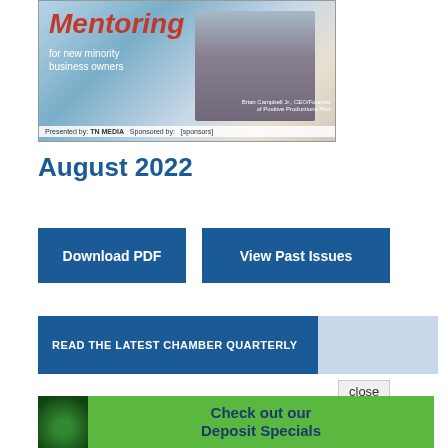[Figure (photo): Magazine cover showing a man in a plaid shirt with text 'Mentoring for new minority business owners', with sponsor logos at the bottom including TN Media]
August 2022
Download PDF
View Past Issues
READ THE LATEST CHAMBER QUARTERLY
close
[Figure (infographic): Banner advertisement showing a tree logo and text 'Check out our Deposit Specials']